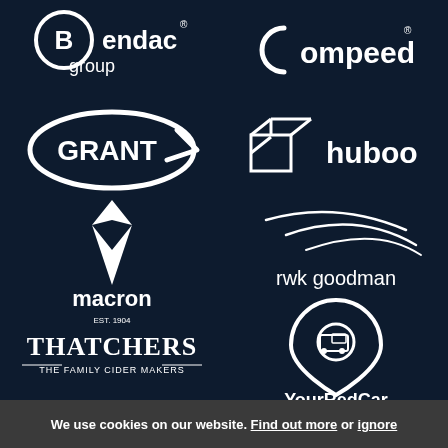[Figure (logo): Bendac group logo - white text on dark navy background]
[Figure (logo): Compeed logo with registered trademark symbol - white on dark navy]
[Figure (logo): Grant logo - white oval with arrow and bold text]
[Figure (logo): huboo logo - white box icon with text on dark navy]
[Figure (logo): macron logo - white chevron/diamond shape above text on dark navy]
[Figure (logo): rwk goodman logo - white swoosh lines above text on dark navy]
[Figure (logo): Thatchers The Family Cider Makers logo - white text on dark navy]
[Figure (logo): Your Red Car logo - white location pin icon with van above text on dark navy]
We use cookies on our website. Find out more or ignore